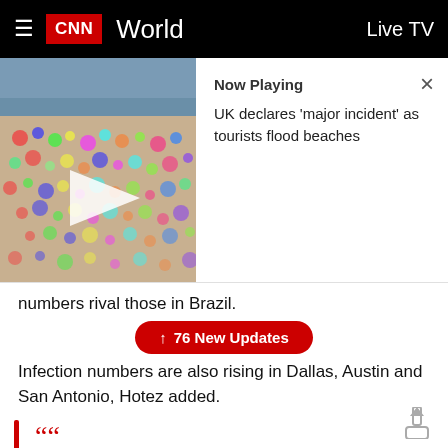CNN World  Live TV
[Figure (screenshot): CNN Now Playing card showing a crowded beach thumbnail with play button, title: UK declares 'major incident' as tourists flood beaches]
numbers rival those in Brazil.
↑ 76 New Updates
Infection numbers are also rising in Dallas, Austin and San Antonio, Hotez added.
"The big metro areas seem to be rising very quickly and some of the models are on the verge of being apocalyptic," Hotez said.